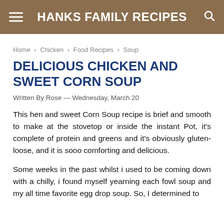HANKS FAMILY RECIPES
Home › Chicken › Food Recipes › Soup
DELICIOUS CHICKEN AND SWEET CORN SOUP
Written By Rose — Wednesday, March 20
This hen and sweet Corn Soup recipe is brief and smooth to make at the stovetop or inside the instant Pot, it's complete of protein and greens and it's obviously gluten-loose, and it is sooo comforting and delicious.
Some weeks in the past whilst i used to be coming down with a chilly, i found myself yearning each fowl soup and my all time favorite egg drop soup. So, I determined to